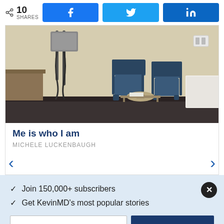10 SHARES
[Figure (photo): Photo of a medical examination room with two blue chairs, a stool, and medical equipment on the wall]
Me is who I am
MICHELE LUCKENBAUGH
✓ Join 150,000+ subscribers
✓ Get KevinMD's most popular stories
Email
Subscribe. It's free.